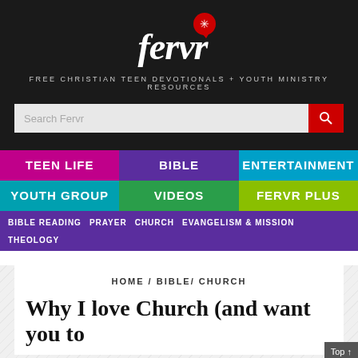[Figure (logo): Fervr website logo with speech bubble icon on dark background]
FREE CHRISTIAN TEEN DEVOTIONALS + YOUTH MINISTRY RESOURCES
[Figure (screenshot): Search bar with text 'Search Fervr' and red search button]
TEEN LIFE
BIBLE
ENTERTAINMENT
YOUTH GROUP
VIDEOS
FERVR PLUS
BIBLE READING   PRAYER   CHURCH   EVANGELISM & MISSION
THEOLOGY
HOME / BIBLE/ CHURCH
Why I love Church (and want you to love it too)